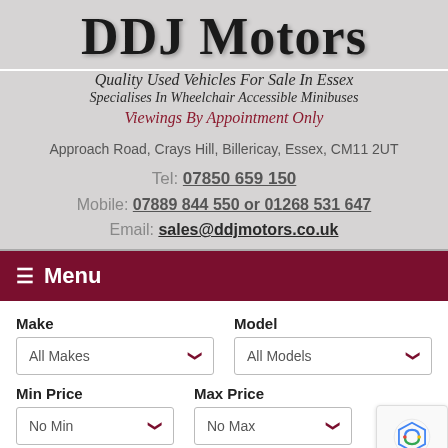DDJ Motors
Quality Used Vehicles For Sale In Essex
Specialises In Wheelchair Accessible Minibuses
Viewings By Appointment Only
Approach Road, Crays Hill, Billericay, Essex, CM11 2UT
Tel: 07850 659 150
Mobile: 07889 844 550 or 01268 531 647
Email: sales@ddjmotors.co.uk
☰ Menu
Make
All Makes
Model
All Models
Min Price
No Min
Max Price
No Max
Transmission
Fuel type